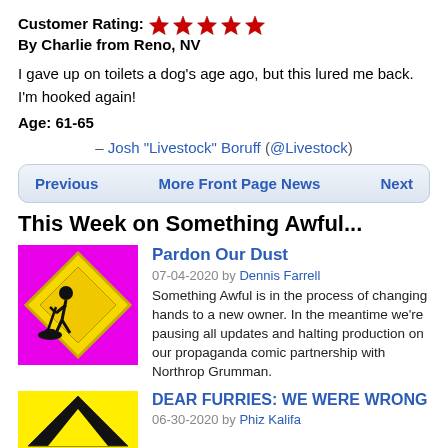Customer Rating: ★★★★★
By Charlie from Reno, NV
I gave up on toilets a dog's age ago, but this lured me back. I'm hooked again!
Age: 61-65
– Josh "Livestock" Boruff (@Livestock)
Previous   More Front Page News   Next
This Week on Something Awful...
Pardon Our Dust
07-04-2020 by Dennis Farrell
Something Awful is in the process of changing hands to a new owner. In the meantime we're pausing all updates and halting production on our propaganda comic partnership with Northrop Grumman.
DEAR FURRIES: WE WERE WRONG
06-30-2020 by Phiz Kalifa